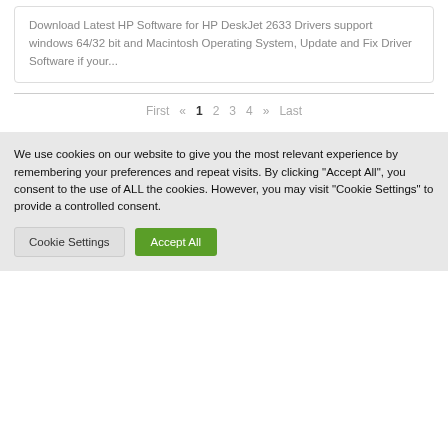Download Latest HP Software for HP DeskJet 2633 Drivers support windows 64/32 bit and Macintosh Operating System, Update and Fix Driver Software if your...
First « 1 2 3 4 » Last
We use cookies on our website to give you the most relevant experience by remembering your preferences and repeat visits. By clicking “Accept All”, you consent to the use of ALL the cookies. However, you may visit "Cookie Settings" to provide a controlled consent.
Cookie Settings
Accept All